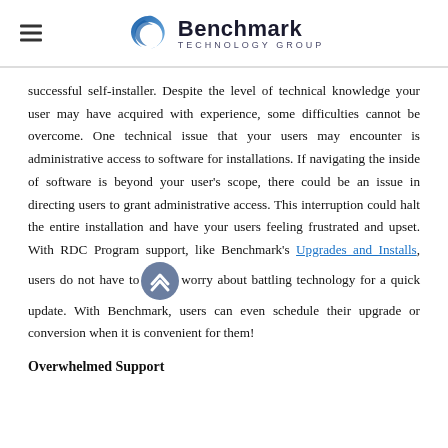Benchmark Technology Group
successful self-installer. Despite the level of technical knowledge your user may have acquired with experience, some difficulties cannot be overcome. One technical issue that your users may encounter is administrative access to software for installations. If navigating the inside of software is beyond your user's scope, there could be an issue in directing users to grant administrative access. This interruption could halt the entire installation and have your users feeling frustrated and upset. With RDC Program support, like Benchmark's Upgrades and Installs, users do not have to worry about battling technology for a quick update. With Benchmark, users can even schedule their upgrade or conversion when it is convenient for them!
Overwhelmed Support